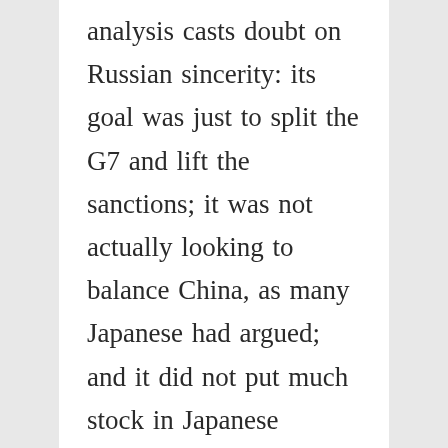analysis casts doubt on Russian sincerity: its goal was just to split the G7 and lift the sanctions; it was not actually looking to balance China, as many Japanese had argued; and it did not put much stock in Japanese economic ties. The article also suggests that the reason why the Obama administration opposed improvement in Japan-